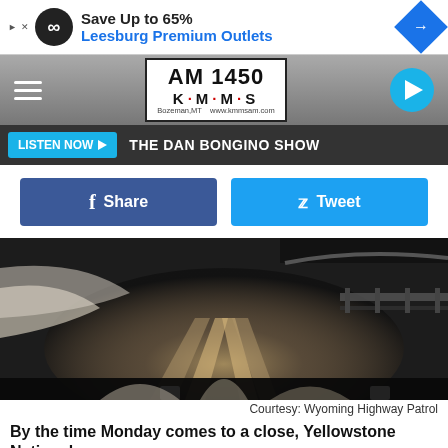[Figure (screenshot): Advertisement banner: Save Up to 65% Leesburg Premium Outlets]
[Figure (logo): AM 1450 KMMS radio station logo with hamburger menu and play button]
LISTEN NOW ▶  THE DAN BONGINO SHOW
[Figure (other): Facebook Share and Twitter Tweet social sharing buttons]
[Figure (photo): Snow-covered road viewed from inside a vehicle, dark wintry conditions]
Courtesy: Wyoming Highway Patrol
By the time Monday comes to a close, Yellowstone National